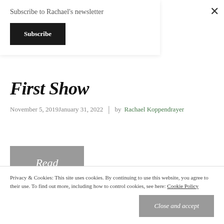Subscribe to Rachael's newsletter
Subscribe
×
First Show
November 5, 2019January 31, 2022 | by Rachael Koppendrayer
Read more →
Privacy & Cookies: This site uses cookies. By continuing to use this website, you agree to their use. To find out more, including how to control cookies, see here: Cookie Policy
Close and accept